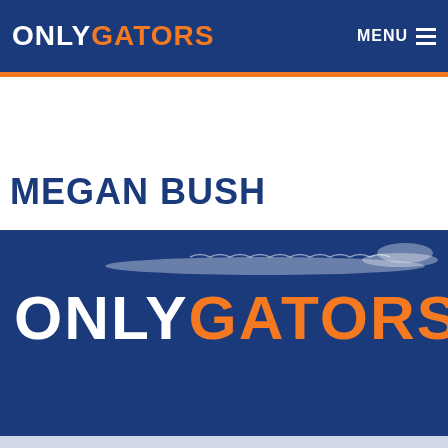ONLY GATORS — MENU
MEGAN BUSH
[Figure (logo): Only Gators logo on dark blue background — white ONLY text and orange GATORS text with gator silhouette above]
6